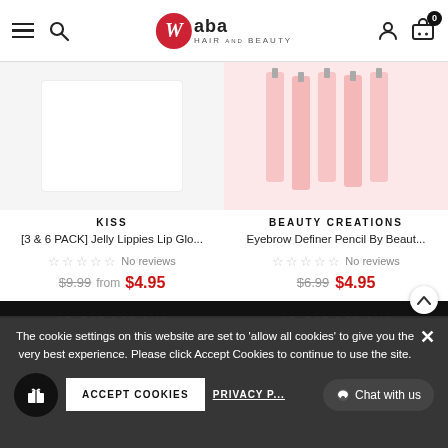Waba Hair and Beauty — navigation header with hamburger, search, logo, user, cart
KISS
[3 & 6 PACK] Jelly Lippies Lip Glo...
☆ ☆ ☆ ☆ ☆ No reviews
$9.99  from  $4.95
BEAUTY CREATIONS
Eyebrow Definer Pencil By Beaut...
☆ ☆ ☆ ☆ ☆ No reviews
$6.99  $4.95
SELECT OPTIONS
SELECT OPTIONS
The cookie settings on this website are set to 'allow all cookies' to give you the very best experience. Please click Accept Cookies to continue to use the site.
ACCEPT COOKIES
PRIVACY P...
Chat with us